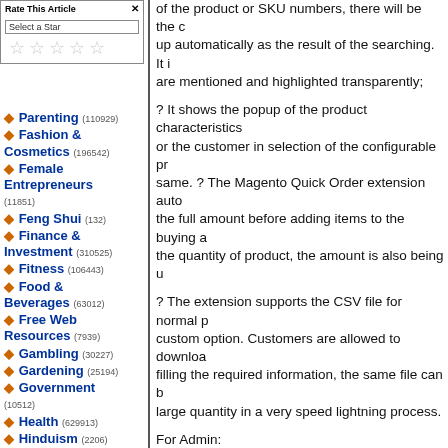[Figure (other): Rate This Article popup with star rating selector and close button, with Select a Star input and 5 empty star icons]
Parenting (110929)
Fashion & Cosmetics (196542)
Female Entrepreneurs (11851)
Feng Shui (132)
Finance & Investment (310525)
Fitness (106443)
Food & Beverages (63012)
Free Web Resources (7939)
Gambling (30227)
Gardening (25194)
Government (10512)
Health (629913)
Hinduism (2206)
Hobbies (44080)
Home Business
of the product or SKU numbers, there will be the popup automatically as the result of the searching. It are mentioned and highlighted transparently;
? It shows the popup of the product characteristics or the customer in selection of the configurable p same. ? The Magento Quick Order extension auto the full amount before adding items to the buying the quantity of product, the amount is also being u
? The extension supports the CSV file for normal custom option. Customers are allowed to downloa filling the required information, the same file can b large quantity in a very speed lightning process.
For Admin:
? It has the potential of selecting and displaying o CMS page or in the popup; ? The Magento wholes search option by the SKU details or by the name a the ability to hide some specific products from cer at the online shop; ? Enable to select which group opportunity to apply for Wholesale Fast Order in th extension allows the admin to determine the limit in the catalog from the panel of the admin; ? The has the capability of customizing the minimum nu allowed to display unique auto-complete results, a It has the amazing ability to customize decimal div individual variety of currency.